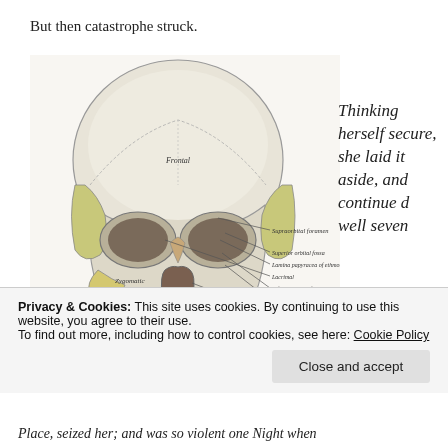But then catastrophe struck.
[Figure (illustration): Anatomical illustration of a human skull, frontal view, with labeled structures including: Supraorbital foramen, Superior orbital fossa, Lamina papyracea of ethmoid, Lacrimal, Inferior orbital fossa, Zygomaticofacial foramen, Infraorbital foramen, Nasal cavity, Inferior nasal concha. Bones labeled include Frontal and Maxilla.]
Thinking herself secure, she laid it aside, and continued well seven
Privacy & Cookies: This site uses cookies. By continuing to use this website, you agree to their use.
To find out more, including how to control cookies, see here: Cookie Policy
Close and accept
Place, seized her; and was so violent one Night when